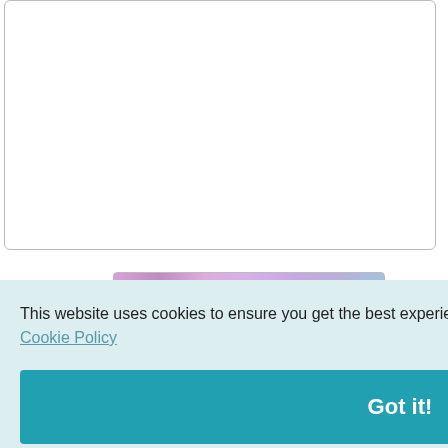[Figure (screenshot): Text area input box for comment or message entry, with rounded border]
Validate:
[Figure (screenshot): CAPTCHA image showing letters W A S on a pink/purple gradient background]
Word:
[Figure (screenshot): Text input box for entering captcha word]
This website uses cookies to ensure you get the best experience on our website.
Cookie Policy
Got it!
efore acting upon any information on the TheWillExpert website.